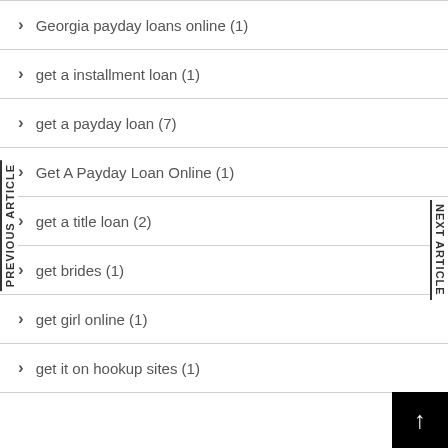Georgia payday loans online (1)
get a installment loan (1)
get a payday loan (7)
Get A Payday Loan Online (1)
get a title loan (2)
get brides (1)
get girl online (1)
get it on hookup sites (1)